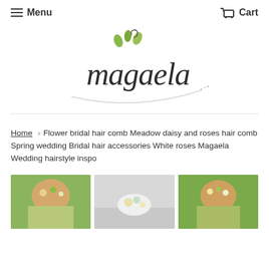Menu | Cart
[Figure (logo): Magaela script logo with decorative leaves and curved underline]
Home › Flower bridal hair comb Meadow daisy and roses hair comb Spring wedding Bridal hair accessories White roses Magaela Wedding hairstyle inspo
[Figure (photo): Three product photos showing bridal hair combs with flowers worn in hair and displayed on surface]